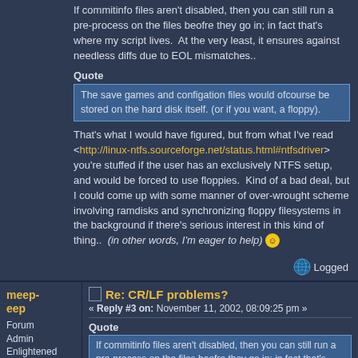If commitinfo files aren't disabled, then you can still run a pre-process on the files beofre they go in; in fact that's where my script lives.  At the very least, it ensures against needless diffs due to EOL mismatches..
Quote
The save games and configation files would ofcourse be stored on the hard disk itself. (or if you want, a floppy).
That's what I would have figured, but from what I've read <http://linux-ntfs.sourceforge.net/status.html#ntfsdriver> you're stuffed if the user has an exclusively NTFS setup, and would be forced to use floppies.  Kind of a bad deal, but I could come up with some manner of over-wrought scheme involving ramdisks and synchronizing floppy filesystems in the background if there's serious interest in this kind of thing..  (in other words, I'm eager to help) :)
Logged
meep-eep
Forum Admin
Enlightened
Offline
Re: CR/LF problems?
« Reply #3 on: November 11, 2002, 08:09:25 pm »
Quote
If commitinfo files aren't disabled, then you can still run a pre-process on the files beofre they go in; in fact that's where my script